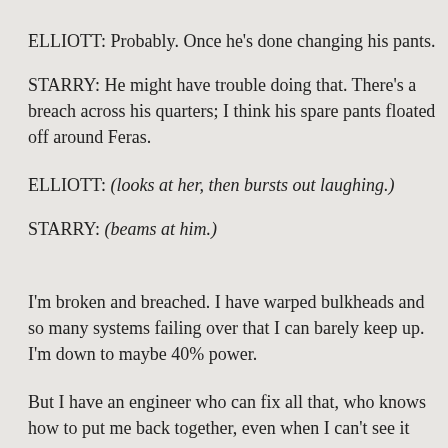ELLIOTT: Probably. Once he's done changing his pants.
STARRY: He might have trouble doing that. There's a breach across his quarters; I think his spare pants floated off around Feras.
ELLIOTT: (looks at her, then bursts out laughing.)
STARRY: (beams at him.)
I'm broken and breached. I have warped bulkheads and so many systems failing over that I can barely keep up. I'm down to maybe 40% power.
But I have an engineer who can fix all that, who knows how to put me back together, even when I can't see it